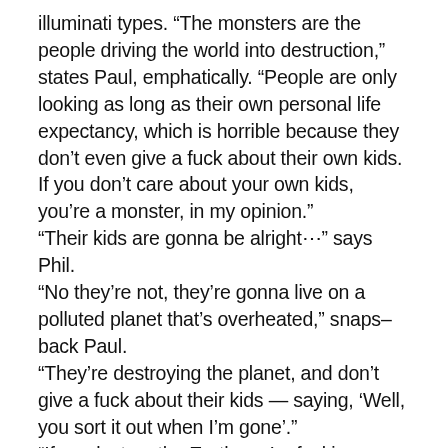illuminati types. “The monsters are the people driving the world into destruction,” states Paul, emphatically. “People are only looking as long as their own personal life expectancy, which is horrible because they don’t even give a fuck about their own kids. If you don’t care about your own kids, you’re a monster, in my opinion.” “Their kids are gonna be alright⋯” says Phil. “No they’re not, they’re gonna live on a polluted planet that’s overheated,” snaps-back Paul. “They’re destroying the planet, and don’t give a fuck about their kids — saying, ‘Well, you sort it out when I’m gone’.” “If we destroy the Earth, we’re fucking ourselves up — it’s obvious,” says Phil. “Now’s the time to start reflecting back on it. You can not give a shit, or you can have a bit of concern and try to make